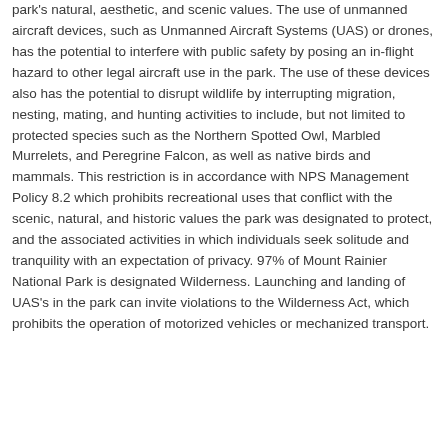park's natural, aesthetic, and scenic values. The use of unmanned aircraft devices, such as Unmanned Aircraft Systems (UAS) or drones, has the potential to interfere with public safety by posing an in-flight hazard to other legal aircraft use in the park. The use of these devices also has the potential to disrupt wildlife by interrupting migration, nesting, mating, and hunting activities to include, but not limited to protected species such as the Northern Spotted Owl, Marbled Murrelets, and Peregrine Falcon, as well as native birds and mammals. This restriction is in accordance with NPS Management Policy 8.2 which prohibits recreational uses that conflict with the scenic, natural, and historic values the park was designated to protect, and the associated activities in which individuals seek solitude and tranquility with an expectation of privacy. 97% of Mount Rainier National Park is designated Wilderness. Launching and landing of UAS's in the park can invite violations to the Wilderness Act, which prohibits the operation of motorized vehicles or mechanized transport.